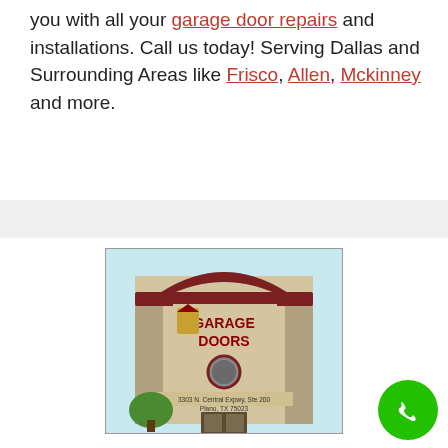you with all your garage door repairs and installations. Call us today! Serving Dallas and Surrounding Areas like Frisco, Allen, Mckinney and more.
[Figure (photo): Storefront photo of A1 Garage Doors at 3303 N. Central Expwy, Ste 200, Plano, TX 75023. Tan building with dark red trim and signage, stone columns, round window, and address text on the facade.]